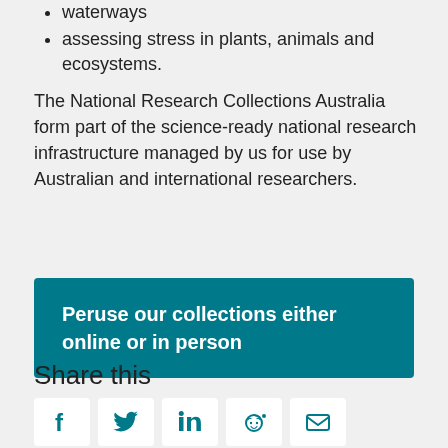waterways
assessing stress in plants, animals and ecosystems.
The National Research Collections Australia form part of the science-ready national research infrastructure managed by us for use by Australian and international researchers.
Peruse our collections either online or in person
Share this
[Figure (infographic): Social sharing icons: Facebook, Twitter, LinkedIn, Reddit, Email]